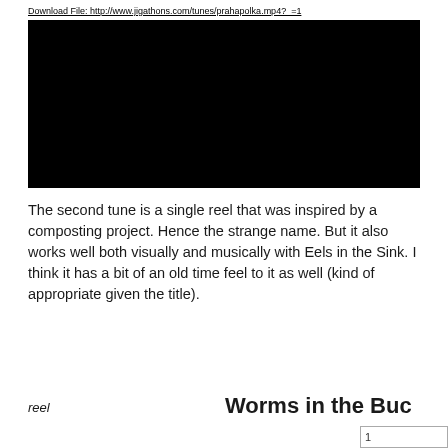Download File: http://www.jigathons.com/tunes/prahapolka.mp4?  =1
[Figure (other): Black video player embed area]
The second tune is a single reel that was inspired by a composting project. Hence the strange name. But it also works well both visually and musically with Eels in the Sink. I think it has a bit of an old time feel to it as well (kind of appropriate given the title).
reel
Worms in the Buc